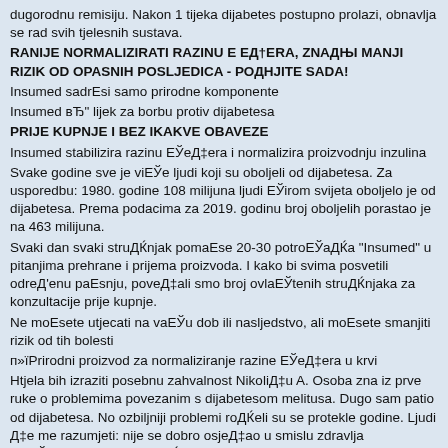dugorodnu remisiju. Nakon 1 tijeka dijabetes postupno prolazi, obnavlja se rad svih tjelesnih sustava.
RANIJE NORMALIZIRATI RAZINU E EД†ERA, ZNAДЊI MANJI RIZIK OD OPASNIH POSLJEDICA - РОДНJITE SADA!
Insumed sadrЕsi samo prirodne komponente
Insumed вЂ" lijek za borbu protiv dijabetesa
PRIJE KUPNJE I BEZ IKAKVE OBAVEZE
Insumed stabilizira razinu ЕЎеД‡era i normalizira proizvodnju inzulina
Svake godine sve je viЕЎe ljudi koji su oboljeli od dijabetesa. Za usporedbu: 1980. godine 108 milijuna ljudi ЕЎirom svijeta oboljelo je od dijabetesa. Prema podacima za 2019. godinu broj oboljelih porastao je na 463 milijuna.
Svaki dan svaki struДЌnjak pomaЕse 20-30 potroЕЎaДЌa "Insumed" u pitanjima prehrane i prijema proizvoda. I kako bi svima posvetili odreД'enu paЕsnju, poveД‡ali smo broj ovlaЕЎtenih struДЌnjaka za konzultacije prije kupnje.
Ne moЕsete utjecati na vaЕЎu dob ili nasljedstvo, ali moЕsete smanjiti rizik od tih bolesti
п»їPrirodni proizvod za normaliziranje razine ЕЎеД‡era u krvi
Htjela bih izraziti posebnu zahvalnost NikoliД‡u A. Osoba zna iz prve ruke o problemima povezanim s dijabetesom melitusa. Dugo sam patio od dijabetesa. No ozbiljniji problemi roДЌeli su se protekle godine. Ljudi Д‡e me razumjeti: nije se dobro osjeД‡ao u smislu zdravlja muЕЎkaraca. Obitelj je roДЌела imati problema. I sve to na pozadini stalnih glavobolja, nesanice, razdraЕsljivosti i kao rezultat - apatije. Od proljeД‡a ove godine